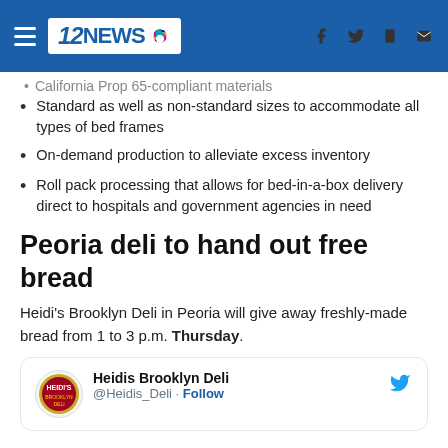12NEWS
California Prop 65-compliant materials (truncated)
Standard as well as non-standard sizes to accommodate all types of bed frames
On-demand production to alleviate excess inventory
Roll pack processing that allows for bed-in-a-box delivery direct to hospitals and government agencies in need
Peoria deli to hand out free bread
Heidi's Brooklyn Deli in Peoria will give away freshly-made bread from 1 to 3 p.m. Thursday.
[Figure (screenshot): Tweet card showing Heidis Brooklyn Deli @Heidis_Deli with Follow button and Twitter bird icon]